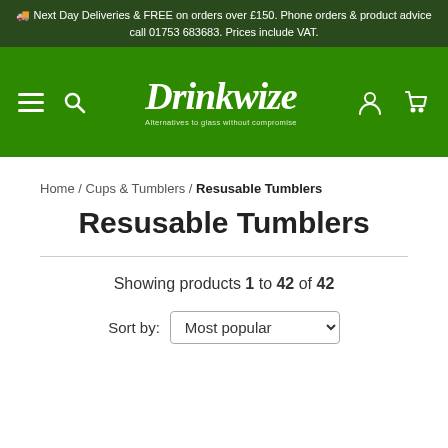🚚 Next Day Deliveries & FREE on orders over £150. Phone orders & product advice call 01753 683683. Prices include VAT.
[Figure (logo): Drinkwize logo in white italic script on green navigation bar with hamburger menu, search, user, and cart icons]
Home / Cups & Tumblers / Resusable Tumblers
Resusable Tumblers
Showing products 1 to 42 of 42
Sort by: Most popular